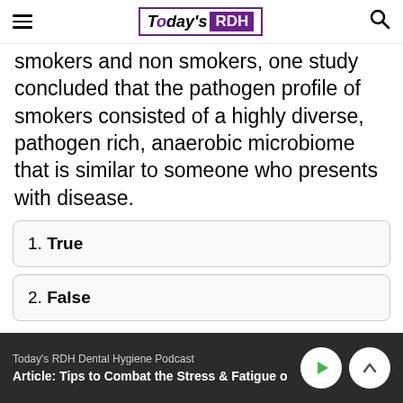Today's RDH
smokers and non smokers, one study concluded that the pathogen profile of smokers consisted of a highly diverse, pathogen rich, anaerobic microbiome that is similar to someone who presents with disease.
1. True
2. False
Today's RDH Dental Hygiene Podcast
Article: Tips to Combat the Stress & Fatigue o